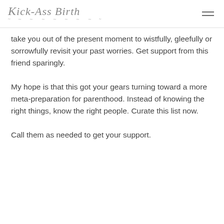Kick-Ass Birth
take you out of the present moment to wistfully, gleefully or sorrowfully revisit your past worries. Get support from this friend sparingly.
My hope is that this got your gears turning toward a more meta-preparation for parenthood. Instead of knowing the right things, know the right people. Curate this list now.
Call them as needed to get your support.